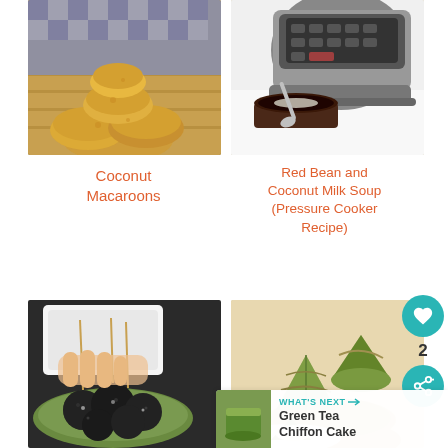[Figure (photo): Stack of golden coconut macaroons on a wooden cutting board with checkered cloth background]
[Figure (photo): Instant Pot pressure cooker with a dark bowl of red bean and coconut milk soup with a spoon]
Coconut Macaroons
Red Bean and Coconut Milk Soup (Pressure Cooker Recipe)
[Figure (photo): Black sesame mochi balls on a green plate with toothpicks inserted, held by a hand]
[Figure (photo): Zongzi (sticky rice dumplings wrapped in bamboo leaves) on a wooden plate]
[Figure (photo): Green Tea Chiffon Cake thumbnail - small green cake]
WHAT'S NEXT → Green Tea Chiffon Cake